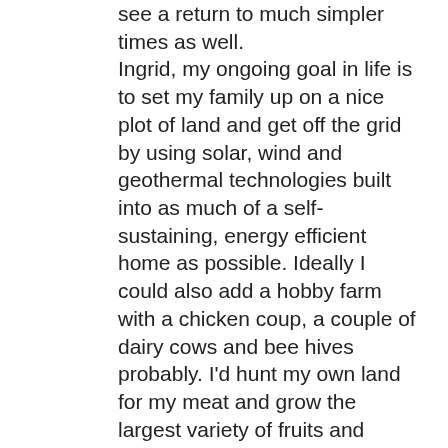see a return to much simpler times as well. Ingrid, my ongoing goal in life is to set my family up on a nice plot of land and get off the grid by using solar, wind and geothermal technologies built into as much of a self-sustaining, energy efficient home as possible. Ideally I could also add a hobby farm with a chicken coup, a couple of dairy cows and bee hives probably. I'd hunt my own land for my meat and grow the largest variety of fruits and veggies in my garden as possible, using them for primary sustenance. I think if we could all live like that, the load on our planet would be vastly reduced. Unfortunately – as you said – the population is out of control and (barring a pole reversal or some other apocalyptic event 😉 I believe its far too late for the widespread acceptance of such ideas for daily living among modern, first-world societies. Too many people in the world define their worth through their possessions, or how closely they can identify with fictional (and some sadly real)